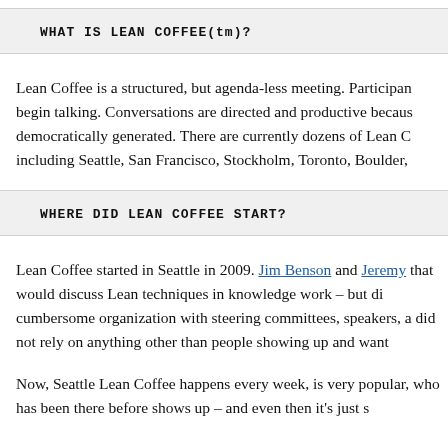WHAT IS LEAN COFFEE(tm)?
Lean Coffee is a structured, but agenda-less meeting. Participants begin talking. Conversations are directed and productive because democratically generated. There are currently dozens of Lean C including Seattle, San Francisco, Stockholm, Toronto, Boulder,
WHERE DID LEAN COFFEE START?
Lean Coffee started in Seattle in 2009. Jim Benson and Jeremy that would discuss Lean techniques in knowledge work – but di cumbersome organization with steering committees, speakers, a did not rely on anything other than people showing up and want
Now, Seattle Lean Coffee happens every week, is very popular, who has been there before shows up – and even then it's just s